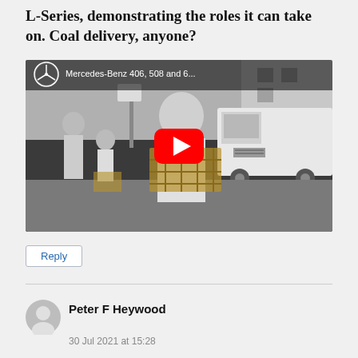L-Series, demonstrating the roles it can take on. Coal delivery, anyone?
[Figure (screenshot): YouTube video thumbnail showing Mercedes-Benz 406, 508 and 6... with a black and white photo of a man carrying a wooden crate in front of a Mercedes-Benz van at a market, with the YouTube play button overlay.]
Reply
Peter F Heywood
30 Jul 2021 at 15:28